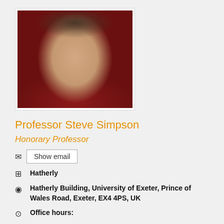[Figure (photo): Headshot photo of Professor Steve Simpson, a man in a red t-shirt with short dark hair, smiling, against a grey background]
Professor Steve Simpson
Honorary Professor
Show email
Hatherly
Hatherly Building, University of Exeter, Prince of Wales Road, Exeter, EX4 4PS, UK
Office hours:
Academia provides amazing freedom to choose